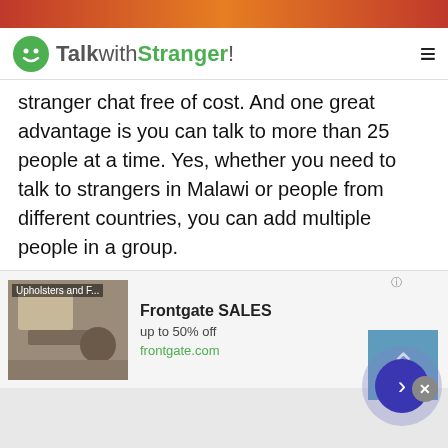[Figure (screenshot): Top colored banner image strip]
TalkwithStranger!
stranger chat free of cost. And one great advantage is you can talk to more than 25 people at a time. Yes, whether you need to talk to strangers in Malawi or people from different countries, you can add multiple people in a group.
So, if you are a student, employee or businessman, why not avail the perks of this free conference calling app? Isn't it great to have a group study, family group call, business meeting call while sitting at home? Of course, it is. Businesses can use conference calls to make work faster and effective.
[Figure (screenshot): Advertisement banner: Frontgate SALES, up to 50% off, frontgate.com with outdoor furniture image]